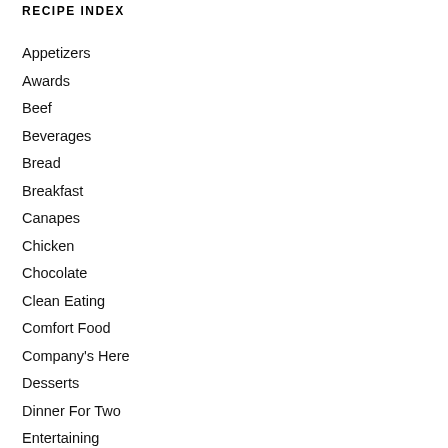RECIPE INDEX
Appetizers
Awards
Beef
Beverages
Bread
Breakfast
Canapes
Chicken
Chocolate
Clean Eating
Comfort Food
Company's Here
Desserts
Dinner For Two
Entertaining
Entree